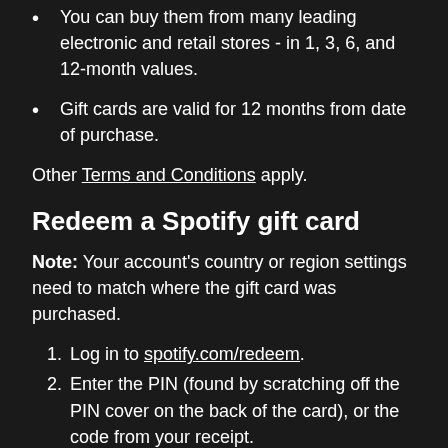You can buy them from many leading electronic and retail stores - in 1, 3, 6, and 12-month values.
Gift cards are valid for 12 months from date of purchase.
Other Terms and Conditions apply.
Redeem a Spotify gift card
Note: Your account's country or region settings need to match where the gift card was purchased.
Log in to spotify.com/redeem.
Enter the PIN (found by scratching off the PIN cover on the back of the card), or the code from your receipt.
Click Redeem.